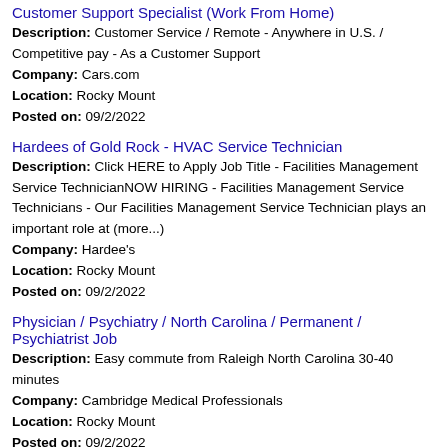Customer Support Specialist (Work From Home)
Description: Customer Service / Remote - Anywhere in U.S. / Competitive pay - As a Customer Support
Company: Cars.com
Location: Rocky Mount
Posted on: 09/2/2022
Hardees of Gold Rock - HVAC Service Technician
Description: Click HERE to Apply Job Title - Facilities Management Service TechnicianNOW HIRING - Facilities Management Service Technicians - Our Facilities Management Service Technician plays an important role at (more...)
Company: Hardee's
Location: Rocky Mount
Posted on: 09/2/2022
Physician / Psychiatry / North Carolina / Permanent / Psychiatrist Job
Description: Easy commute from Raleigh North Carolina 30-40 minutes
Company: Cambridge Medical Professionals
Location: Rocky Mount
Posted on: 09/2/2022